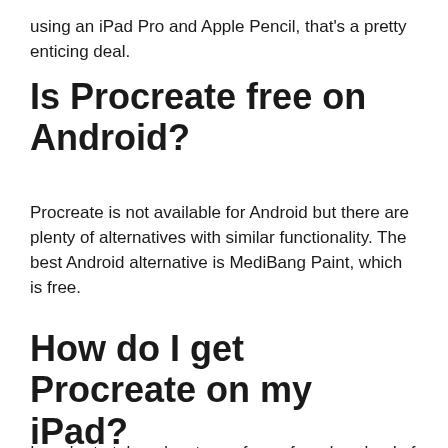using an iPad Pro and Apple Pencil, that's a pretty enticing deal.
Is Procreate free on Android?
Procreate is not available for Android but there are plenty of alternatives with similar functionality. The best Android alternative is MediBang Paint, which is free.
How do I get Procreate on my iPad?
In order to take advantage of your free download of Procreate, first make sure you have the Apple Store app on your device.